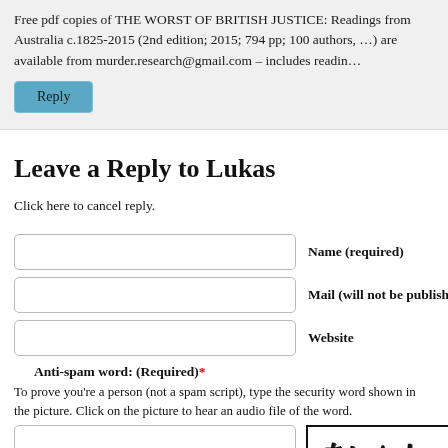Free pdf copies of THE WORST OF BRITISH JUSTICE: Readings from Australia c.1825-2015 (2nd edition; 2015; 794 pp; 100 authors, ...) are available from murder.research@gmail.com – includes readin...
Reply
Leave a Reply to Lukas
Click here to cancel reply.
Name (required)
Mail (will not be published)
Website
Anti-spam word: (Required)*
To prove you're a person (not a spam script), type the security word shown in the picture. Click on the picture to hear an audio file of the word.